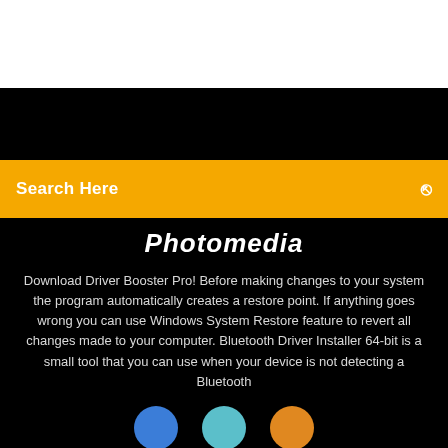[Figure (screenshot): White top area of a webpage screenshot]
[Figure (screenshot): Black navigation band at top of webpage]
Search Here
Photomedia
Download Driver Booster Pro! Before making changes to your system the program automatically creates a restore point. If anything goes wrong you can use Windows System Restore feature to revert all changes made to your computer. Bluetooth Driver Installer 64-bit is a small tool that you can use when your device is not detecting a Bluetooth
[Figure (illustration): Three partial circles visible at the bottom of the page - blue, teal, and orange]